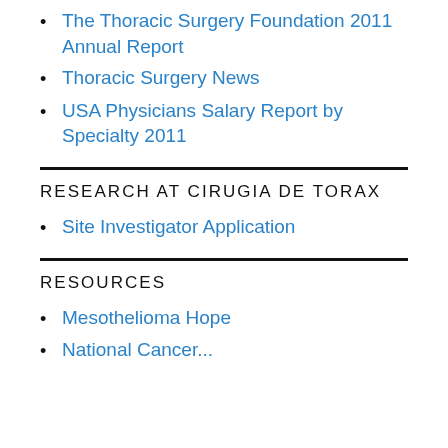The Thoracic Surgery Foundation 2011 Annual Report
Thoracic Surgery News
USA Physicians Salary Report by Specialty 2011
RESEARCH AT CIRUGIA DE TORAX
Site Investigator Application
RESOURCES
Mesothelioma Hope
National Cancer...